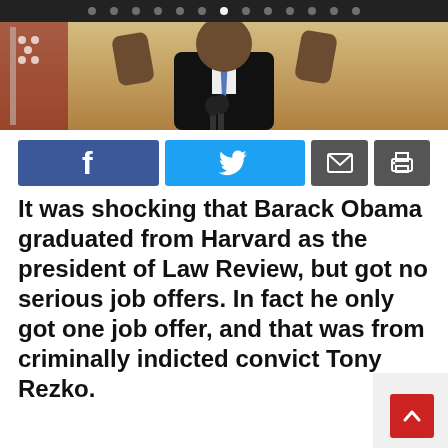[Figure (photo): A man in a dark suit with hands raised, standing in front of a gold/yellow curtain background with an American flag visible to the left. Appears to be at a podium or press conference.]
[Figure (infographic): Social media share buttons row: Facebook (blue), Twitter (light blue), Email (gray), Print (gray)]
It was shocking that Barack Obama graduated from Harvard as the president of Law Review, but got no serious job offers. In fact he only got one job offer, and that was from criminally indicted convict Tony Rezko.